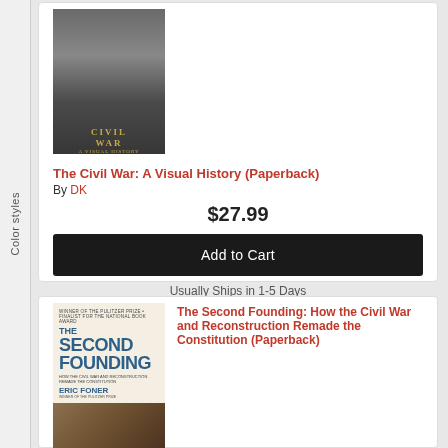Color styles
[Figure (photo): Book cover: The Civil War: A Visual History (Paperback)]
The Civil War: A Visual History (Paperback)
By DK
$27.99
Add to Cart
Usually Ships in 1-5 Days
[Figure (photo): Book cover: The Second Founding: How the Civil War and Reconstruction Remade the Constitution by Eric Foner (Paperback)]
The Second Founding: How the Civil War and Reconstruction Remade the Constitution (Paperback)